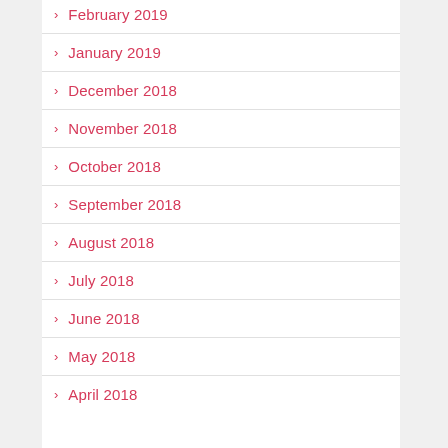February 2019
January 2019
December 2018
November 2018
October 2018
September 2018
August 2018
July 2018
June 2018
May 2018
April 2018